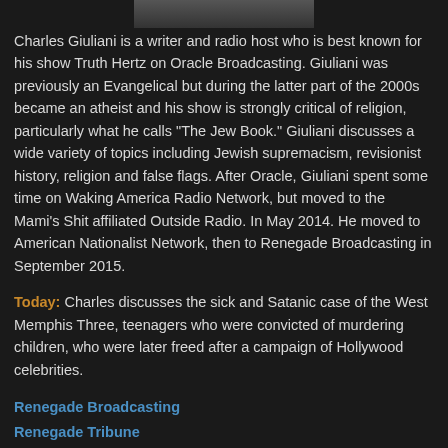[Figure (photo): Partial photo strip at top of page showing a person, partially cropped]
Charles Giuliani is a writer and radio host who is best known for his show Truth Hertz on Oracle Broadcasting. Giuliani was previously an Evangelical but during the latter part of the 2000s became an atheist and his show is strongly critical of religion, particularly what he calls "The Jew Book." Giuliani discusses a wide variety of topics including Jewish supremacism, revisionist history, religion and false flags. After Oracle, Giuliani spent some time on Waking America Radio Network, but moved to the Mami's Shit affiliated Outside Radio. In May 2014. He moved to American Nationalist Network, then to Renegade Broadcasting in September 2015.
Today: Charles discusses the sick and Satanic case of the West Memphis Three, teenagers who were convicted of murdering children, who were later freed after a campaign of Hollywood celebrities.
Renegade Broadcasting
Renegade Tribune
Renegade Archive for Truth Hertz